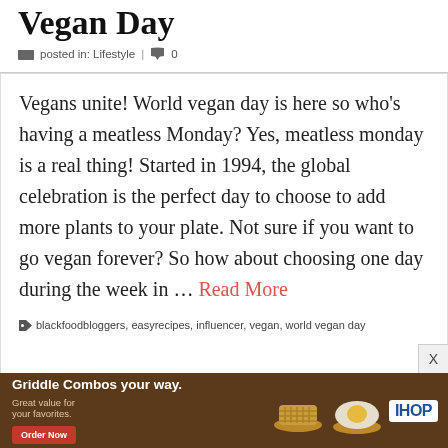Vegan Day
posted in: Lifestyle | 0
Vegans unite! World vegan day is here so who’s having a meatless Monday? Yes, meatless monday is a real thing! Started in 1994, the global celebration is the perfect day to choose to add more plants to your plate. Not sure if you want to go vegan forever? So how about choosing one day during the week in … Read More
blackfoodbloggers, easyrecipes, influencer, vegan, world vegan day
[Figure (other): IHOP advertisement banner: 'Griddle Combos your way. Great value for your favorites. Order Now.' with food images and IHOP logo]